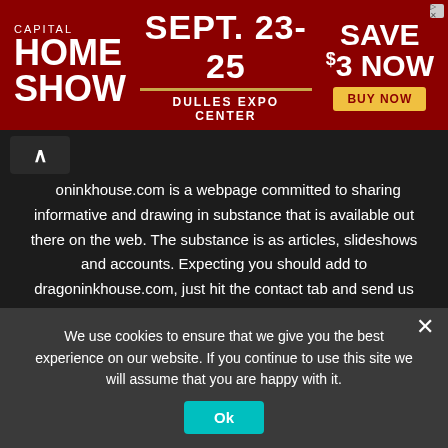[Figure (other): Capital Home Show banner advertisement: dark red background with white text 'CAPITAL HOME SHOW', center text 'SEPT. 23-25 DULLES EXPO CENTER', right side 'SAVE $3 NOW' with yellow 'BUY NOW' button]
dragoninkhouse.com is a webpage committed to sharing informative and drawing in substance that is available out there on the web. The substance is as articles, slideshows and accounts. Expecting you should add to dragoninkhouse.com, just hit the contact tab and send us your articles or fundamentally share your story with us.
@2022 - All Right Reserved. Designed and Developed by

DRAGONINKHOUSE
About Us   Contact Us   Disclaimer   DMCA   Privacy Policy
We use cookies to ensure that we give you the best experience on our website. If you continue to use this site we will assume that you are happy with it.